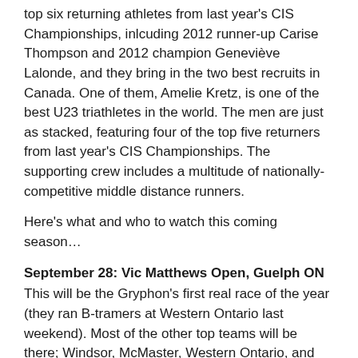top six returning athletes from last year's CIS Championships, inlcuding 2012 runner-up Carise Thompson and 2012 champion Geneviève Lalonde, and they bring in the two best recruits in Canada. One of them, Amelie Kretz, is one of the best U23 triathletes in the world. The men are just as stacked, featuring four of the top five returners from last year's CIS Championships. The supporting crew includes a multitude of nationally-competitive middle distance runners.
Here's what and who to watch this coming season…
September 28: Vic Matthews Open, Guelph ON
This will be the Gryphon's first real race of the year (they ran B-tramers at Western Ontario last weekend). Most of the other top teams will be there; Windsor, McMaster, Western Ontario, and Toronto amongst others. The women's race will likely include Queens' Victoria Coates, who was third at last year's CIS while running for McMaster, and we'll see how